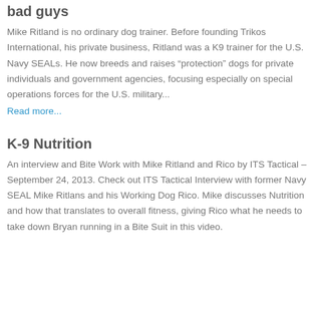bad guys
Mike Ritland is no ordinary dog trainer. Before founding Trikos International, his private business, Ritland was a K9 trainer for the U.S. Navy SEALs. He now breeds and raises “protection” dogs for private individuals and government agencies, focusing especially on special operations forces for the U.S. military...
Read more...
K-9 Nutrition
An interview and Bite Work with Mike Ritland and Rico by ITS Tactical – September 24, 2013. Check out ITS Tactical Interview with former Navy SEAL Mike Ritlans and his Working Dog Rico. Mike discusses Nutrition and how that translates to overall fitness, giving Rico what he needs to take down Bryan running in a Bite Suit in this video.